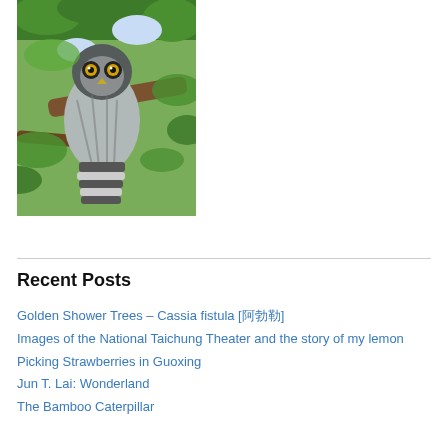[Figure (photo): An owl perched on a tree branch surrounded by green leaves. The owl has yellow eyes, gray and white speckled plumage, and a striped tail visible below.]
Recent Posts
Golden Shower Trees – Cassia fistula [阿勃勒]
Images of the National Taichung Theater and the story of my lemon
Picking Strawberries in Guoxing
Jun T. Lai: Wonderland
The Bamboo Caterpillar